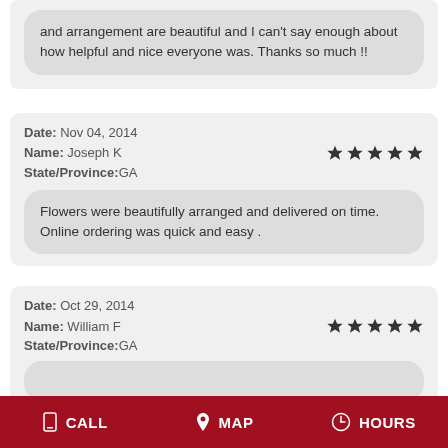and arrangement are beautiful and I can't say enough about how helpful and nice everyone was. Thanks so much !!
Date: Nov 04, 2014
Name: Joseph K
State/Province:GA
Flowers were beautifully arranged and delivered on time. Online ordering was quick and easy .
Date: Oct 29, 2014
Name: William F
State/Province:GA
CALL  MAP  HOURS